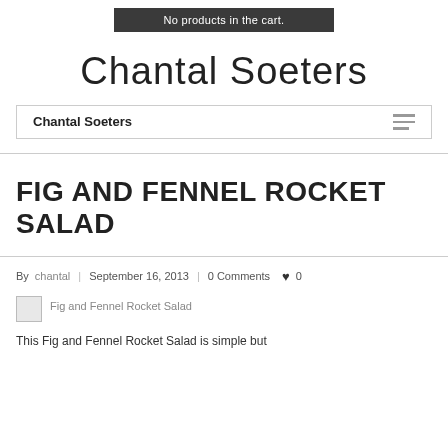No products in the cart.
Chantal Soeters
Chantal Soeters
FIG AND FENNEL ROCKET SALAD
By chantal | September 16, 2013 | 0 Comments ♥ 0
[Figure (photo): Fig and Fennel Rocket Salad thumbnail image]
This Fig and Fennel Rocket Salad is simple but